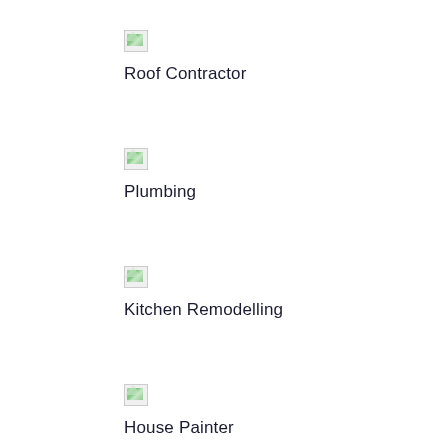[Figure (illustration): Broken image placeholder icon for Roof Contractor]
Roof Contractor
[Figure (illustration): Broken image placeholder icon for Plumbing]
Plumbing
[Figure (illustration): Broken image placeholder icon for Kitchen Remodelling]
Kitchen Remodelling
[Figure (illustration): Broken image placeholder icon for House Painter]
House Painter